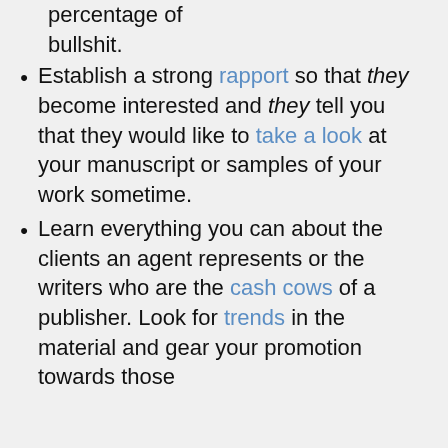percentage of bullshit.
Establish a strong rapport so that they become interested and they tell you that they would like to take a look at your manuscript or samples of your work sometime.
Learn everything you can about the clients an agent represents or the writers who are the cash cows of a publisher. Look for trends in the material and gear your promotion towards those